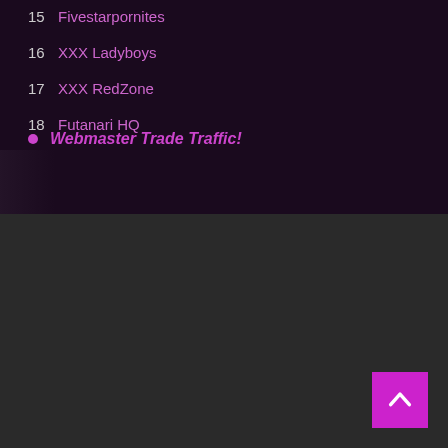15  Fivestarpornites
16  XXX Ladyboys
17  XXX RedZone
18  Futanari HQ
Webmaster Trade Traffic!